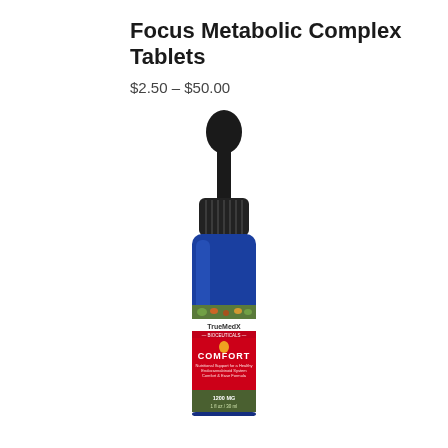Focus Metabolic Complex Tablets
$2.50 – $50.00
[Figure (photo): Product photo of a blue dropper bottle with a black rubber-bulb dropper top. The label reads TrueMedX Bioceuticals COMFORT, with a drop icon and text: Nutritional Support for a Healthy Endocannabinoid System, Comfort & Ease Formula, 1200 MG, 1 fl oz / 30 ml. The label has a red band with white text and a botanical/natural imagery background.]